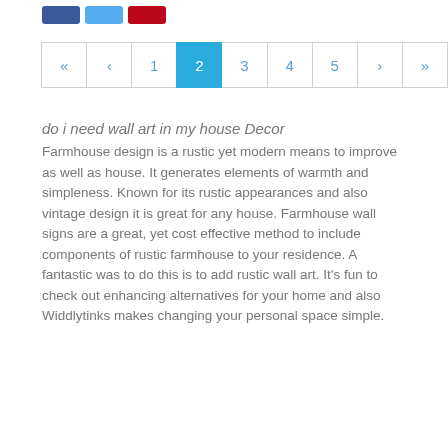[Figure (other): Social media icon buttons: Facebook (blue), Twitter (light blue), Pinterest (red)]
[Figure (other): Pagination control showing pages: « ‹ 1 [2] 3 4 5 › »  with page 2 highlighted in blue]
do i need wall art in my house Decor
Farmhouse design is a rustic yet modern means to improve as well as house. It generates elements of warmth and simpleness. Known for its rustic appearances and also vintage design it is great for any house. Farmhouse wall signs are a great, yet cost effective method to include components of rustic farmhouse to your residence. A fantastic was to do this is to add rustic wall art. It's fun to check out enhancing alternatives for your home and also Widdlytinks makes changing your personal space simple.